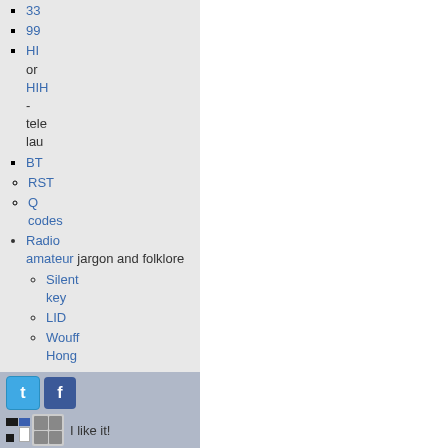33
99
HI or HIH - telegraph laugh
BT
RST
Q codes
Radio amateur jargon and folklore
Silent key
LID
Wouff Hong
Fist
Organizations
ITU
IARU
ARRL
[Figure (infographic): Social media sharing bar with Twitter and Facebook icons, black/blue/white square icons, people icon, and 'I like it!' text]